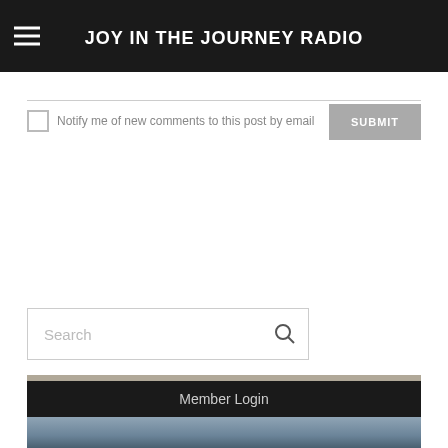JOY IN THE JOURNEY RADIO
Notify me of new comments to this post by email
SUBMIT
Search
Member Login
[Figure (photo): Partial photo of a person visible at the very bottom of the page]